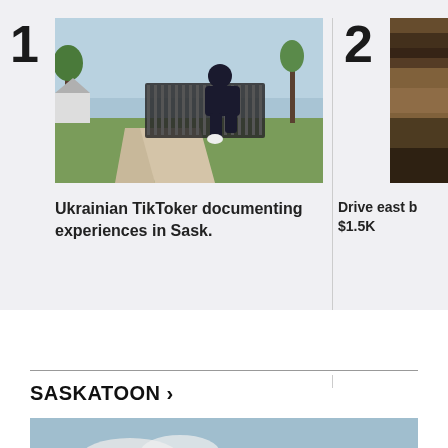1
[Figure (photo): Person sitting on a park bench using a phone, outdoor park scene with trees and greenery, clear sky]
Ukrainian TikToker documenting experiences in Sask.
2
[Figure (photo): Partially visible dark blurred image, appears to be an interior or object with warm tones]
Drive east b $1.5K
SASKATOON >
[Figure (photo): Exit Only Do Not Enter sign on a pole against a cloudy sky, red and beige sign, another similar sign partially visible]